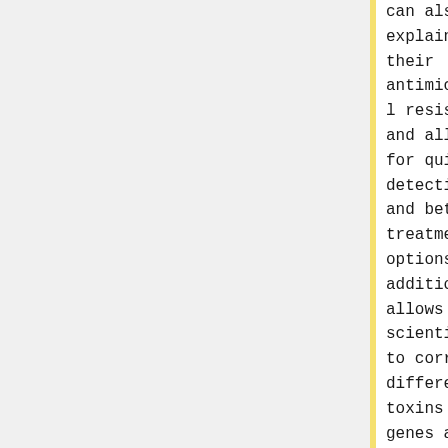can also explain their antimicrobial resistance and allow for quicker detection and better treatment options.  In addition, it allows scientists to correlate different toxins and genes and their disease-causing ability.(4)